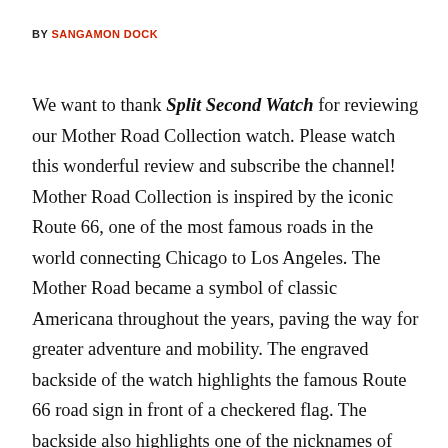BY SANGAMON DOCK
We want to thank Split Second Watch for reviewing our Mother Road Collection watch. Please watch this wonderful review and subscribe the channel! Mother Road Collection is inspired by the iconic Route 66, one of the most famous roads in the world connecting Chicago to Los Angeles. The Mother Road became a symbol of classic Americana throughout the years, paving the way for greater adventure and mobility. The engraved backside of the watch highlights the famous Route 66 road sign in front of a checkered flag. The backside also highlights one of the nicknames of Route 66 with a “Main Street of America” header and the